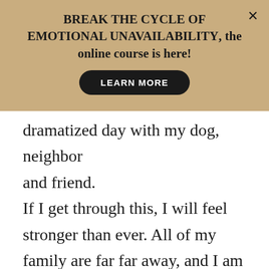BREAK THE CYCLE OF EMOTIONAL UNAVAILABILITY, the online course is here!
LEARN MORE
dramatized day with my dog, neighbor
and friend.
If I get through this, I will feel stronger than ever. All of my family are far far away, and I am very isolated myself, like so many others. But being alone with my dignity is worth much more than being in company